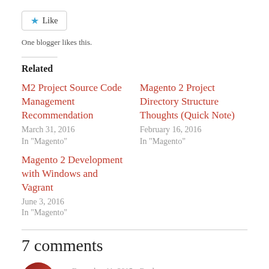[Figure (other): Like button with blue star icon and 'Like' text]
One blogger likes this.
Related
M2 Project Source Code Management Recommendation
March 31, 2016
In "Magento"
Magento 2 Project Directory Structure Thoughts (Quick Note)
February 16, 2016
In "Magento"
Magento 2 Development with Windows and Vagrant
June 3, 2016
In "Magento"
7 comments
[Figure (photo): User avatar thumbnail (red/portrait photo)]